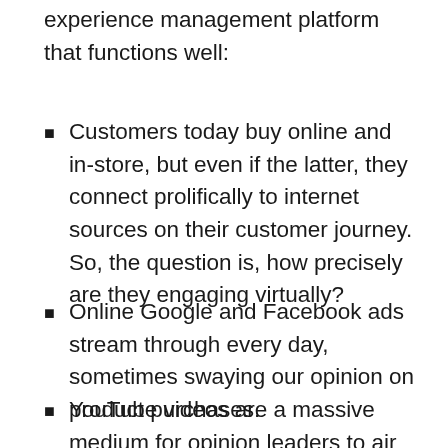experience management platform that functions well:
Customers today buy online and in-store, but even if the latter, they connect prolifically to internet sources on their customer journey. So, the question is, how precisely are they engaging virtually?
Online Google and Facebook ads stream through every day, sometimes swaying our opinion on product purchases.
YouTube videos are a massive medium for opinion leaders to air their views on brands, and prospects